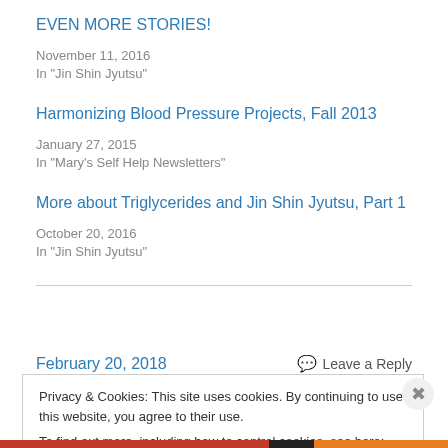EVEN MORE STORIES!
November 11, 2016
In "Jin Shin Jyutsu"
Harmonizing Blood Pressure Projects, Fall 2013
January 27, 2015
In "Mary's Self Help Newsletters"
More about Triglycerides and Jin Shin Jyutsu, Part 1
October 20, 2016
In "Jin Shin Jyutsu"
February 20, 2018
Leave a Reply
Privacy & Cookies: This site uses cookies. By continuing to use this website, you agree to their use. To find out more, including how to control cookies, see here: Cookie Policy
Close and accept